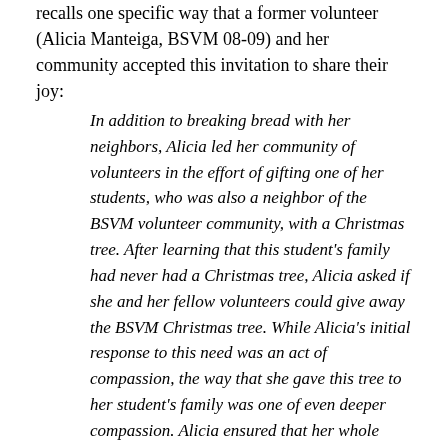recalls one specific way that a former volunteer (Alicia Manteiga, BSVM 08-09) and her community accepted this invitation to share their joy:
In addition to breaking bread with her neighbors, Alicia led her community of volunteers in the effort of gifting one of her students, who was also a neighbor of the BSVM volunteer community, with a Christmas tree. After learning that this student's family had never had a Christmas tree, Alicia asked if she and her fellow volunteers could give away the BSVM Christmas tree. While Alicia's initial response to this need was an act of compassion, the way that she gave this tree to her student's family was one of even deeper compassion. Alicia ensured that her whole community of volunteers was involved in surprising their young neighbor with a Christmas tree on her stoop just as she stepped off the bus after school. The effort that went into delivering this as a delightful gift rather than a donated hand-out made